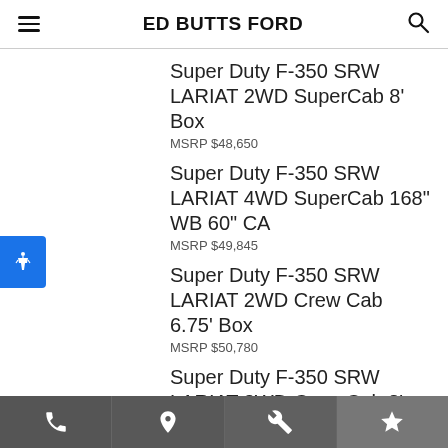ED BUTTS FORD
Super Duty F-350 SRW LARIAT 2WD SuperCab 8' Box
MSRP $48,650
Super Duty F-350 SRW LARIAT 4WD SuperCab 168" WB 60" CA
MSRP $49,845
Super Duty F-350 SRW LARIAT 2WD Crew Cab 6.75' Box
MSRP $50,780
Super Duty F-350 SRW LARIAT 2WD Crew Cab 8' Box
MSRP $50,980
Super Duty F-350 SRW LARIAT 4WD Crew Cab 179" WB 60" CA
MSRP $51,445
Super Duty F-350 SRW LARIAT 4WD SuperCab 6.75' Box (partial)
Phone | Location | Wrench | Star